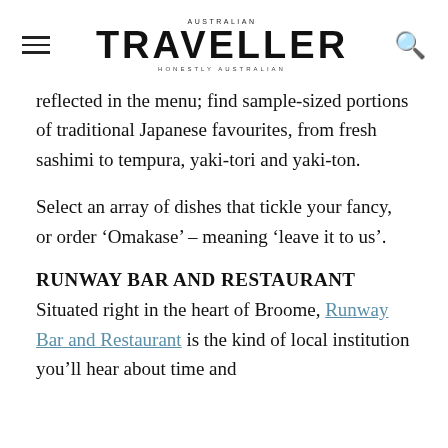AUSTRALIAN TRAVELLER HONESTLY AUSTRALIAN
reflected in the menu; find sample-sized portions of traditional Japanese favourites, from fresh sashimi to tempura, yaki-tori and yaki-ton.
Select an array of dishes that tickle your fancy, or order ‘Omakase’ – meaning ‘leave it to us’.
RUNWAY BAR AND RESTAURANT
Situated right in the heart of Broome, Runway Bar and Restaurant is the kind of local institution you’ll hear about time and